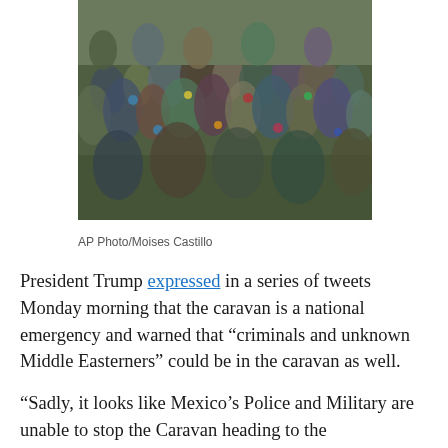[Figure (photo): Large crowd of people walking, a migrant caravan, photographed from above/angled view showing densely packed group of people moving together.]
AP Photo/Moises Castillo
President Trump expressed in a series of tweets Monday morning that the caravan is a national emergency and warned that “criminals and unknown Middle Easterners” could be in the caravan as well.
“Sadly, it looks like Mexico’s Police and Military are unable to stop the Caravan heading to the